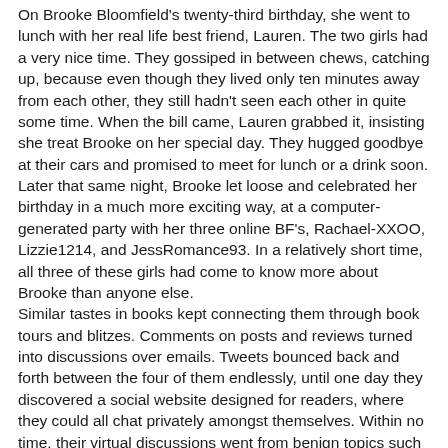On Brooke Bloomfield's twenty-third birthday, she went to lunch with her real life best friend, Lauren. The two girls had a very nice time. They gossiped in between chews, catching up, because even though they lived only ten minutes away from each other, they still hadn't seen each other in quite some time. When the bill came, Lauren grabbed it, insisting she treat Brooke on her special day. They hugged goodbye at their cars and promised to meet for lunch or a drink soon. Later that same night, Brooke let loose and celebrated her birthday in a much more exciting way, at a computer-generated party with her three online BF's, Rachael-XXOO, Lizzie1214, and JessRomance93. In a relatively short time, all three of these girls had come to know more about Brooke than anyone else.
Similar tastes in books kept connecting them through book tours and blitzes. Comments on posts and reviews turned into discussions over emails. Tweets bounced back and forth between the four of them endlessly, until one day they discovered a social website designed for readers, where they could all chat privately amongst themselves. Within no time, their virtual discussions went from benign topics such as books they all loved, hated and/or felt somewhere in between, and all the reasons why, to more personal topics.